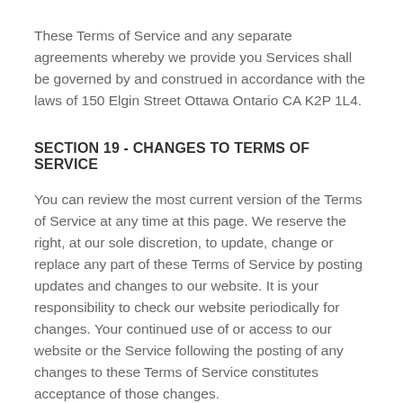These Terms of Service and any separate agreements whereby we provide you Services shall be governed by and construed in accordance with the laws of 150 Elgin Street Ottawa Ontario CA K2P 1L4.
SECTION 19 - CHANGES TO TERMS OF SERVICE
You can review the most current version of the Terms of Service at any time at this page. We reserve the right, at our sole discretion, to update, change or replace any part of these Terms of Service by posting updates and changes to our website. It is your responsibility to check our website periodically for changes. Your continued use of or access to our website or the Service following the posting of any changes to these Terms of Service constitutes acceptance of those changes.